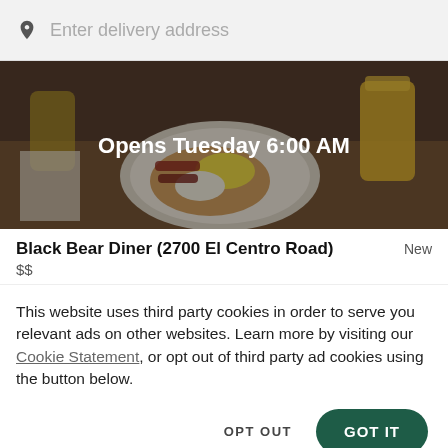Enter delivery address
[Figure (photo): Food photo showing breakfast items: eggs, pancakes, bacon on a plate with orange juice glasses, with a dark overlay and text 'Opens Tuesday 6:00 AM']
Black Bear Diner (2700 El Centro Road)
$$
New
This website uses third party cookies in order to serve you relevant ads on other websites. Learn more by visiting our Cookie Statement, or opt out of third party ad cookies using the button below.
OPT OUT
GOT IT